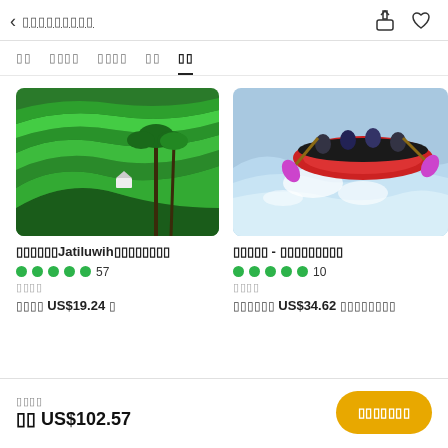< ▯▯▯▯▯▯▯▯▯
▯▯  ▯▯▯▯  ▯▯▯▯  ▯▯  ▯▯
[Figure (photo): Green rice terraces with palm trees, Jatiluwih Bali]
▯▯▯▯▯▯Jatiluwih▯▯▯▯▯▯▯▯
●●●●●  57
▯▯▯▯
▯▯▯▯ US$19.24 ▯
[Figure (photo): People white water rafting in an inflatable raft]
▯▯▯▯▯ - ▯▯▯▯▯▯▯▯▯
●●●●●  10
▯▯▯▯
▯▯▯▯▯▯ US$34.62 ▯▯▯▯▯▯▯▯
▯▯▯▯ ▯▯ US$102.57 | ▯▯▯▯▯▯▯